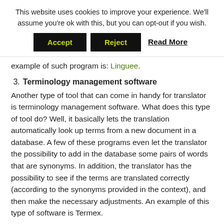This website uses cookies to improve your experience. We'll assume you're ok with this, but you can opt-out if you wish.
Accept | Reject | Read More
example of such program is: Linguee.
3. Terminology management software
Another type of tool that can come in handy for translator is terminology management software. What does this type of tool do? Well, it basically lets the translation automatically look up terms from a new document in a database. A few of these programs even let the translator the possibility to add in the database some pairs of words that are synonyms. In addition, the translator has the possibility to see if the terms are translated correctly (according to the synonyms provided in the context), and then make the necessary adjustments. An example of this type of software is Termex.